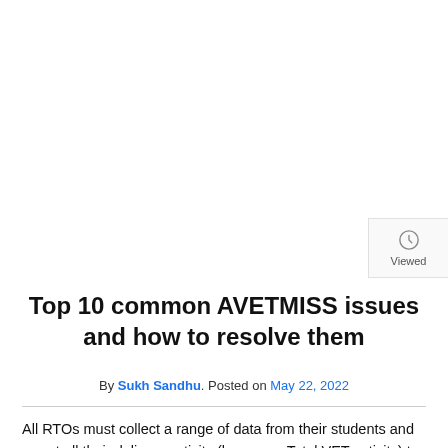[Figure (other): Viewed widget with clock icon in top-right corner]
Top 10 common AVETMISS issues and how to resolve them
By Sukh Sandhu. Posted on May 22, 2022
All RTOs must collect a range of data from their students and report all their delivery activity (known as Total VET activity) to the National Centre for Vocational Education Research (NCVER), at least annually.